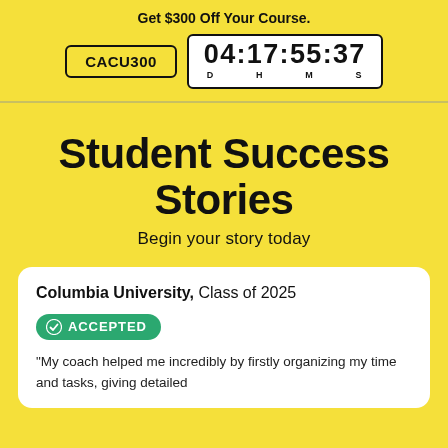Get $300 Off Your Course. CACU300 | 04:17:55:37
Student Success Stories
Begin your story today
Columbia University, Class of 2025
ACCEPTED
“My coach helped me incredibly by firstly organizing my time and tasks, giving detailed